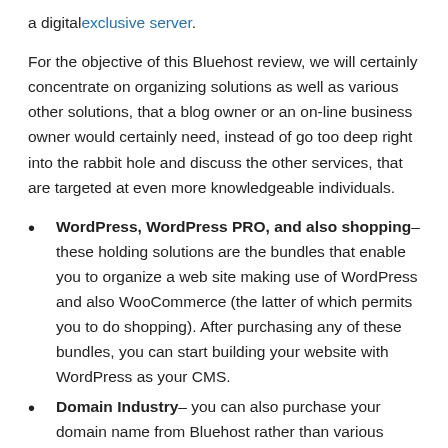a digital exclusive server.
For the objective of this Bluehost review, we will certainly concentrate on organizing solutions as well as various other solutions, that a blog owner or an on-line business owner would certainly need, instead of go too deep right into the rabbit hole and discuss the other services, that are targeted at even more knowledgeable individuals.
WordPress, WordPress PRO, and also shopping– these holding solutions are the bundles that enable you to organize a web site making use of WordPress and also WooCommerce (the latter of which permits you to do shopping). After purchasing any of these bundles, you can start building your website with WordPress as your CMS.
Domain Industry– you can also purchase your domain name from Bluehost rather than various other domain